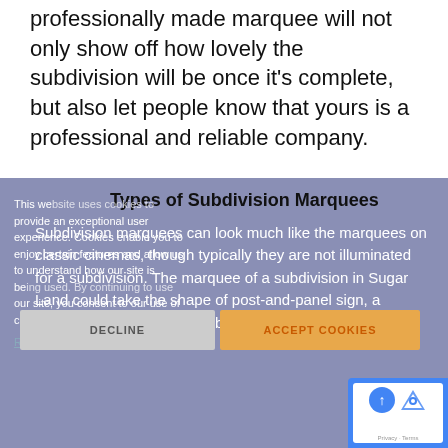professionally made marquee will not only show off how lovely the subdivision will be once it's complete, but also let people know that yours is a professional and reliable company.
Types of Subdivision Marquees
This website uses cookies to provide an exceptional user experience. Cookies enable you to enjoy certain features and allow us to understand how our site is being used. By continuing to use our site, you consent to our use of cookies.
Subdivision marquees can look much like the marquees on classic cinemas, though typically they are not illuminated for a subdivision. The marquee of a subdivision in Sugar Land could take the shape of post-and-panel sign, a monument sign, or it could be a pair of signs marking the